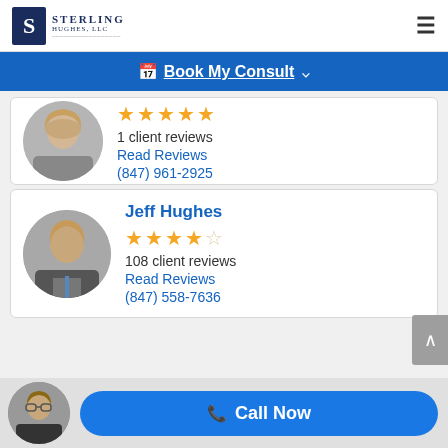[Figure (logo): Sterling Hughes LLC logo with S icon]
Book My Consult
[Figure (photo): Headshot of female attorney (partially visible), circular crop]
1 client reviews
Read Reviews
(847) 961-2925
Jeff Hughes
[Figure (photo): Headshot of Jeff Hughes, male attorney, circular crop]
108 client reviews
Read Reviews
(847) 558-7636
[Figure (photo): Headshot of female attorney at bottom, circular crop]
Call Now